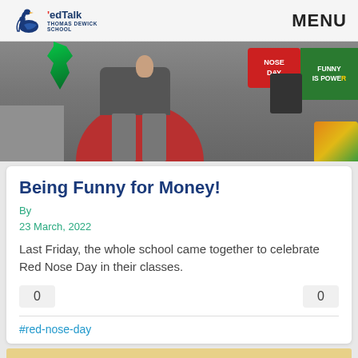edTalk Thomas Dewick School | MENU
[Figure (photo): Child sitting on a red seat/ball wearing grey school uniform, with colourful Red Nose Day signs in the background including 'NOSE DAY' and 'FUNNY IS POWER']
Being Funny for Money!
By
23 March, 2022
Last Friday, the whole school came together to celebrate Red Nose Day in their classes.
0
0
#red-nose-day